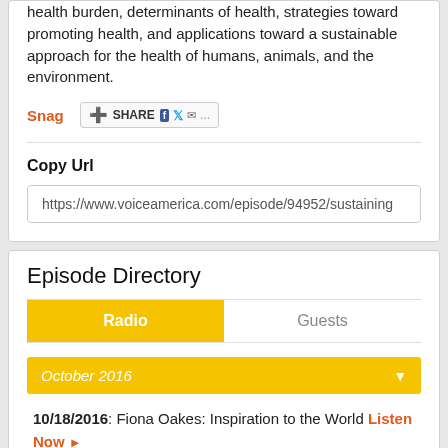health burden, determinants of health, strategies toward promoting health, and applications toward a sustainable approach for the health of humans, animals, and the environment.
Snag  SHARE
Copy Url
https://www.voiceamerica.com/episode/94952/sustaining
Episode Directory
Radio  Guests
October 2016
10/18/2016: Fiona Oakes: Inspiration to the World Listen Now